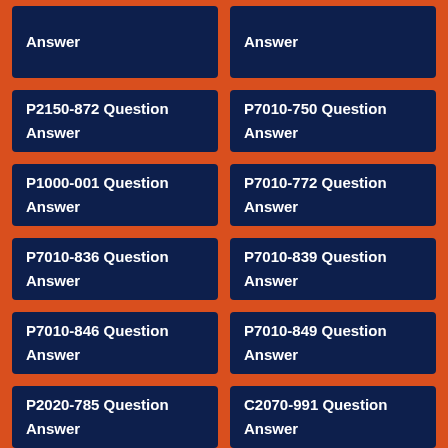Answer
Answer
P2150-872 Question
Answer
P7010-750 Question
Answer
P1000-001 Question
Answer
P7010-772 Question
Answer
P7010-836 Question
Answer
P7010-839 Question
Answer
P7010-846 Question
Answer
P7010-849 Question
Answer
P2020-785 Question
Answer
C2070-991 Question
Answer